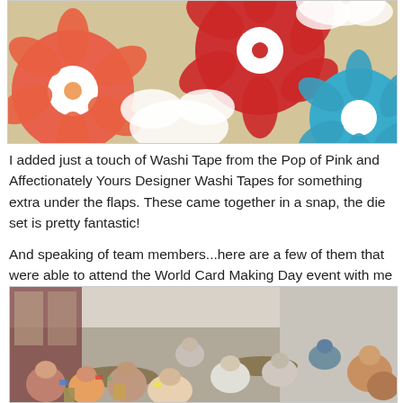[Figure (photo): Close-up photo of colorful floral fabric or paper with large hibiscus flowers in red, coral, and teal on a white and tan background]
I added just a touch of Washi Tape from the Pop of Pink and Affectionately Yours Designer Washi Tapes for something extra under the flaps.  These came together in a snap, the die set is pretty fantastic!
And speaking of team members...here are a few of them that were able to attend the World Card Making Day event with me yesterday.  🙂
[Figure (photo): Photo of a group of women sitting at tables in a large conference room or banquet hall, participating in a World Card Making Day event]